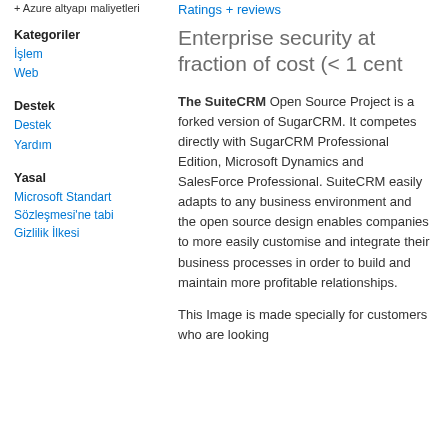+ Azure altyapı maliyetleri
Kategoriler
İşlem
Web
Destek
Destek
Yardım
Yasal
Microsoft Standart Sözleşmesi'ne tabi
Gizlilik İlkesi
Ratings + reviews
Enterprise security at fraction of cost (< 1 cent
The SuiteCRM Open Source Project is a forked version of SugarCRM. It competes directly with SugarCRM Professional Edition, Microsoft Dynamics and SalesForce Professional. SuiteCRM easily adapts to any business environment and the open source design enables companies to more easily customise and integrate their business processes in order to build and maintain more profitable relationships.
This Image is made specially for customers who are looking